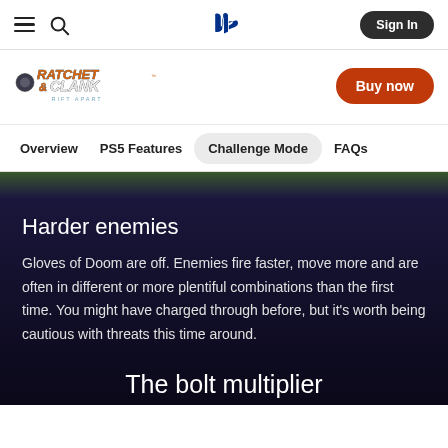PlayStation navigation bar with hamburger menu, search, PlayStation logo, and Sign In button
[Figure (logo): Ratchet & Clank: Rift Apart game logo with orange stylized text and blue subtitle]
Buy now
Overview    PS5 Features    Challenge Mode    FAQs
[Figure (photo): Thin strip of in-game screenshot showing green foliage environment]
Harder enemies
Gloves of Doom are off. Enemies fire faster, move more and are often in different or more plentiful combinations than the first time. You might have charged through before, but it's worth being cautious with threats this time around.
The bolt multiplier